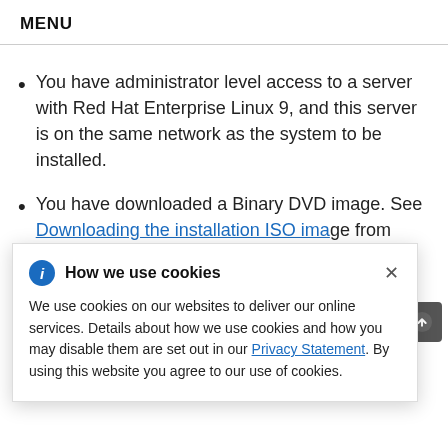MENU
You have administrator level access to a server with Red Hat Enterprise Linux 9, and this server is on the same network as the system to be installed.
You have downloaded a Binary DVD image. See Downloading the installation ISO image from ... installation ... or USB ... ing ... ng a
[Figure (screenshot): Cookie consent popup overlay titled 'How we use cookies' with info icon, close button, body text about cookie usage and a Privacy Statement link.]
standard RHEL 9 installation document for